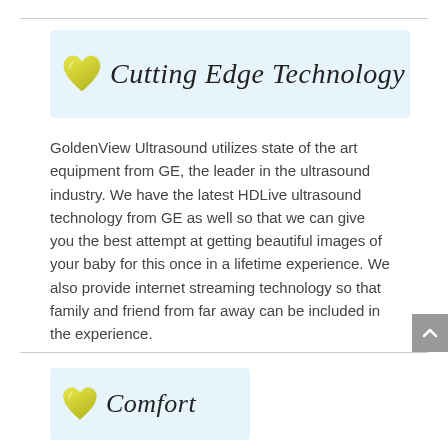[Figure (illustration): Light blue banner with a yellow-green heart icon and cursive script text reading 'Cutting Edge Technology']
GoldenView Ultrasound utilizes state of the art equipment from GE, the leader in the ultrasound industry. We have the latest HDLive ultrasound technology from GE as well so that we can give you the best attempt at getting beautiful images of your baby for this once in a lifetime experience. We also provide internet streaming technology so that family and friend from far away can be included in the experience.
[Figure (illustration): Light blue banner with a yellow-green heart icon and cursive script text reading 'Comfort']